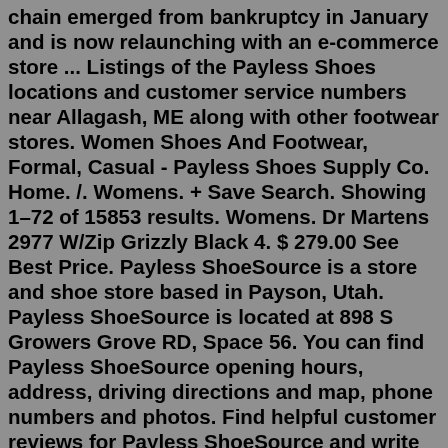chain emerged from bankruptcy in January and is now relaunching with an e-commerce store ... Listings of the Payless Shoes locations and customer service numbers near Allagash, ME along with other footwear stores. Women Shoes And Footwear, Formal, Casual - Payless Shoes Supply Co. Home. /. Womens. + Save Search. Showing 1–72 of 15853 results. Womens. Dr Martens 2977 W/Zip Grizzly Black 4. $ 279.00 See Best Price. Payless ShoeSource is a store and shoe store based in Payson, Utah. Payless ShoeSource is located at 898 S Growers Grove RD, Space 56. You can find Payless ShoeSource opening hours, address, driving directions and map, phone numbers and photos. Find helpful customer reviews for Payless ShoeSource and write your own review to rate the store. There are a total of 6 Payless ShoeSource stores in Mississippi. Top cities in Mississippi with at least one Payless ShoeSource store within 100 miles: Jackson, MS (4). Top cities in Mississippi with zero Payless ShoeSource store within 100 miles: Gulfport, MS. Payless ShoeSource is a